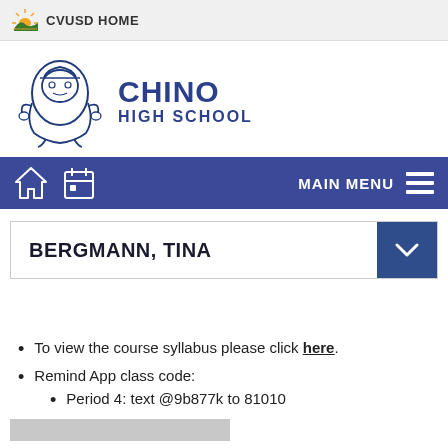CVUSD HOME
CHINO HIGH SCHOOL
MAIN MENU
BERGMANN, TINA
To view the course syllabus please click here.
Remind App class code:
Period 4: text @9b877k to 81010